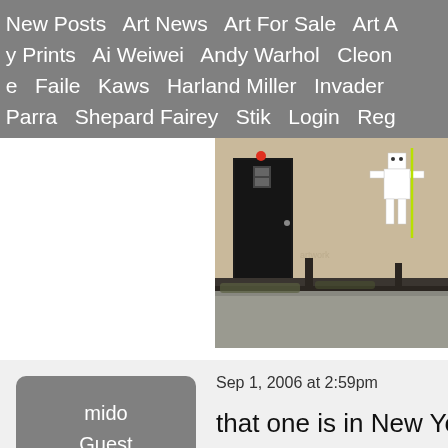New Posts   Art News   Art For Sale   Art A
y Prints   Ai Weiwei   Andy Warhol   Cleon
e   Faile   Kaws   Harland Miller   Invader
Parra   Shepard Fairey   Stik   Login   Reg
[Figure (photo): Street art photograph showing a wall with a dark door, graffiti, and a white robot-like figure painted on it. Urban street scene.]
mido
Guest
Sep 1, 2006 at 2:59pm
that one is in New York